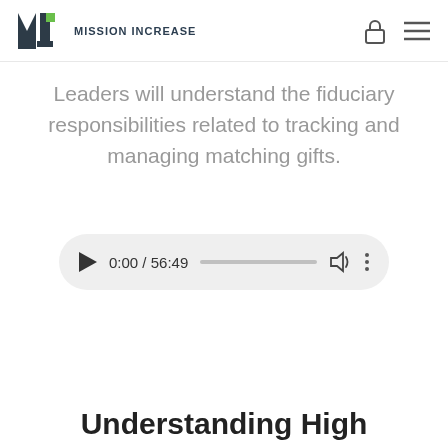MISSION INCREASE
Leaders will understand the fiduciary responsibilities related to tracking and managing matching gifts.
[Figure (other): Audio player widget showing time 0:00 / 56:49 with play button, progress bar, volume and more options icons]
Understanding High